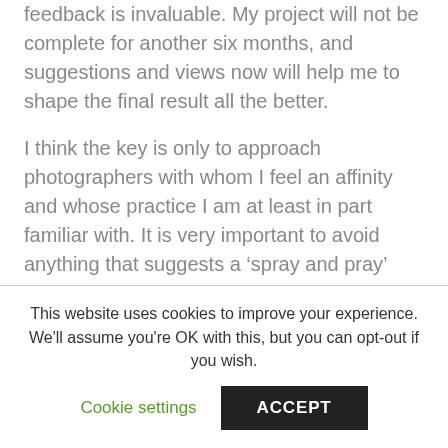feedback is invaluable. My project will not be complete for another six months, and suggestions and views now will help me to shape the final result all the better.
I think the key is only to approach photographers with whom I feel an affinity and whose practice I am at least in part familiar with. It is very important to avoid anything that suggests a ‘spray and pray’ approach. I have therefore made only a short list, but of people whose work I really admire. I have also approached my fellow members of Oxford Photographers here, although I do know most of them quite well, as well as a local journalist and a curator. I will be putting the details in my FMP submission.
This website uses cookies to improve your experience. We'll assume you're OK with this, but you can opt-out if you wish.
Cookie settings
ACCEPT